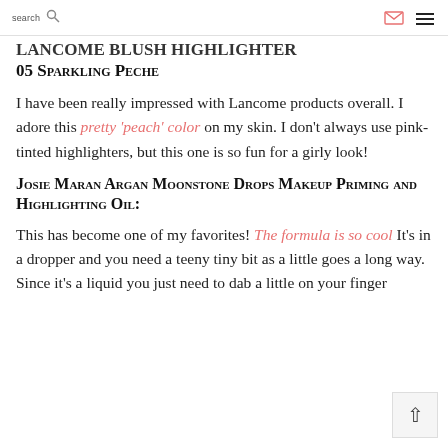search  [search icon] [envelope icon] [menu icon]
Lancome Blush Highlighter 05 Sparkling Peche
I have been really impressed with Lancome products overall. I adore this pretty 'peach' color on my skin. I don't always use pink-tinted highlighters, but this one is so fun for a girly look!
Josie Maran Argan Moonstone Drops Makeup Priming and Highlighting Oil:
This has become one of my favorites! The formula is so cool It's in a dropper and you need a teeny tiny bit as a little goes a long way. Since it's a liquid you just need to dab a little on your finger